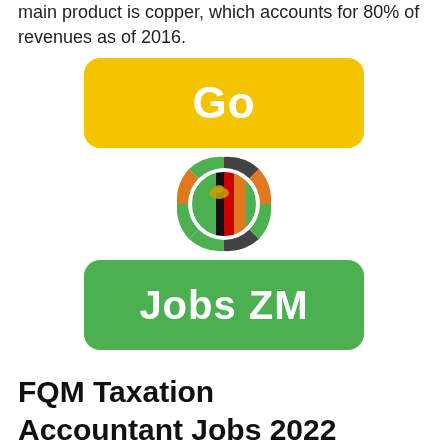main product is copper, which accounts for 80% of revenues as of 2016.
[Figure (logo): Jobs ZM logo: a golden rounded rectangle button with white bold text 'Go', above a circular Zambia flag coin/badge with green, orange, black segments, and below a green rounded rectangle button with white bold text 'Jobs ZM']
FQM Taxation Accountant Jobs 2022